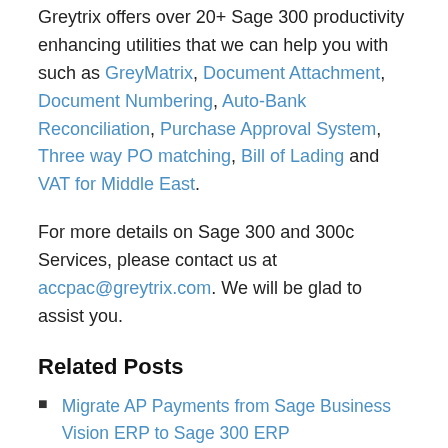Greytrix offers over 20+ Sage 300 productivity enhancing utilities that we can help you with such as GreyMatrix, Document Attachment, Document Numbering, Auto-Bank Reconciliation, Purchase Approval System, Three way PO matching, Bill of Lading and VAT for Middle East.
For more details on Sage 300 and 300c Services, please contact us at accpac@greytrix.com. We will be glad to assist you.
Related Posts
Migrate AP Payments from Sage Business Vision ERP to Sage 300 ERP
Migrate Item Warehouses from Sage Business Vision ERP to Sage 300 ERP
Migrating Items from Sage Business Vision to Sage 300 ERP
Category: Sage 300 Tags: Account Payable, GUMU,